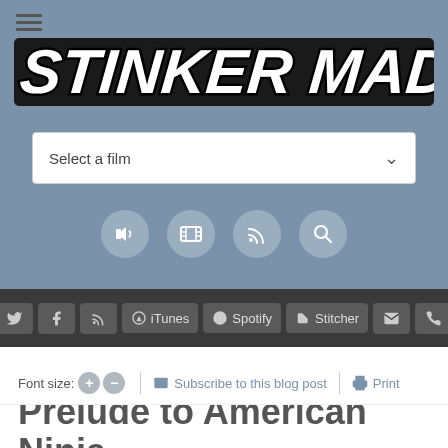[Figure (logo): Stinker Madness logo - stylized text with bold italic font, black outline with red shadow effect on dark background banner]
[Figure (screenshot): Select a film dropdown menu]
[Figure (infographic): Row of four circular icon buttons: audio/speaker, film/video, RSS feed, and search (magnifying glass)]
[Figure (screenshot): Dark toolbar with social/platform buttons: Twitter, Facebook, RSS, iTunes, Spotify, Stitcher, Email, Phone]
Font size: + -    Subscribe to this blog post    Print
Prelude to American Ninja